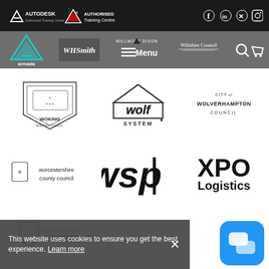[Figure (logo): Autodesk Authorised Training Centre and Adobe Authorised Training Centre logos in white on black header bar, with social media icons (Facebook, LinkedIn, Twitter, Instagram) on right]
[Figure (logo): Navigation bar with armada logo (teal triangle), WHSmith logo, Willmott Dixon logo with Menu hamburger, Wiltshire Council text, search and cart icons]
[Figure (logo): Woking Borough Council logo - shield emblem with text]
[Figure (logo): Wolf System logo - house silhouette with SYSTEM text]
[Figure (logo): City of Wolverhampton Council text logo]
[Figure (logo): Worcestershire County Council logo with emblem]
[Figure (logo): WSP logo in large bold italic letters]
[Figure (logo): XPO Logistics logo in bold black text]
[Figure (logo): University of Leicester logo with shield emblem]
This website uses cookies to ensure you get the best experience. Learn more